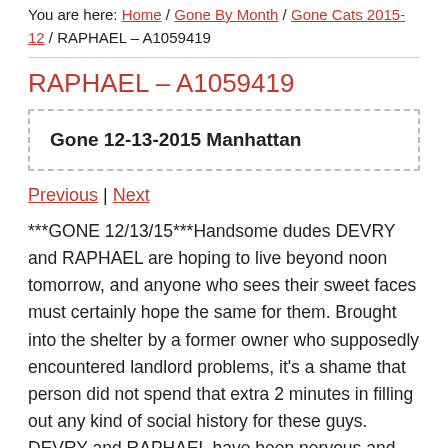You are here: Home / Gone By Month / Gone Cats 2015-12 / RAPHAEL – A1059419
RAPHAEL – A1059419
Gone 12-13-2015 Manhattan
Previous | Next
***GONE 12/13/15***Handsome dudes DEVRY and RAPHAEL are hoping to live beyond noon tomorrow, and anyone who sees their sweet faces must certainly hope the same for them. Brought into the shelter by a former owner who supposedly encountered landlord problems, it's a shame that person did not spend that extra 2 minutes in filling out any kind of social history for these guys. DEVRY and RAPHAEL have been nervous and wary at the shelter, which just shows that they are